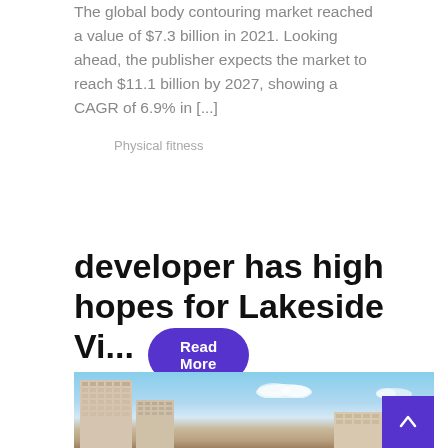The global body contouring market reached a value of $7.3 billion in 2021. Looking ahead, the publisher expects the market to reach $11.1 billion by 2027, showing a CAGR of 6.9% in [...]
Physical fitness
Read More
developer has high hopes for Lakeside Vi...
[Figure (photo): Photograph of multi-storey residential or commercial buildings under a blue sky with clouds, appearing to be a lakeside village development]